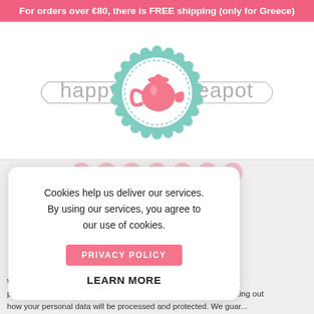For orders over €80, there is FREE shipping (only for Greece)
[Figure (logo): Happy Teapot logo: ribbon banner with 'happy' and 'teapot' text in grey, with a teal scalloped circle containing a pink teapot icon in the center]
Cookies help us deliver our services. By using our services, you agree to our use of cookies.
PRIVACY POLICY
LEARN MORE
We take your privacy very seriously and aim to be transparent with our processing of your personal data. We therefore have a policy setting out how your personal data will be processed and protected. We guar...